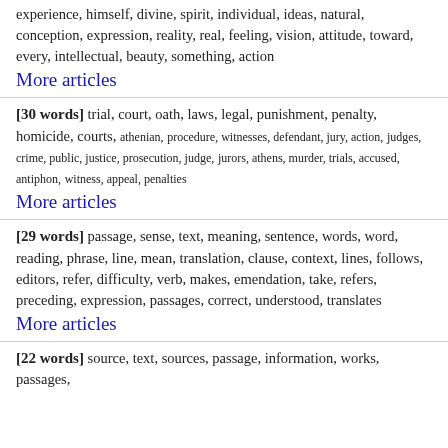experience, himself, divine, spirit, individual, ideas, natural, conception, expression, reality, real, feeling, vision, attitude, toward, every, intellectual, beauty, something, action
More articles
[30 words] trial, court, oath, laws, legal, punishment, penalty, homicide, courts, athenian, procedure, witnesses, defendant, jury, action, judges, crime, public, justice, prosecution, judge, jurors, athens, murder, trials, accused, antiphon, witness, appeal, penalties
More articles
[29 words] passage, sense, text, meaning, sentence, words, word, reading, phrase, line, mean, translation, clause, context, lines, follows, editors, refer, difficulty, verb, makes, emendation, take, refers, preceding, expression, passages, correct, understood, translates
More articles
[22 words] source, text, sources, passage, information, works, passages,